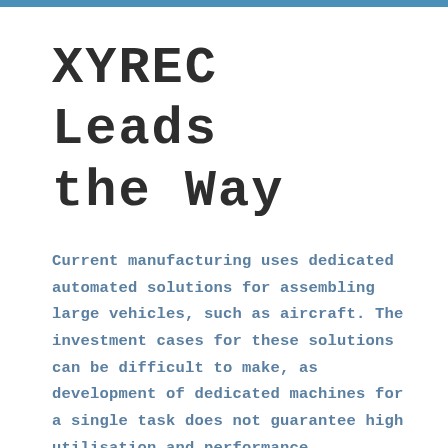XYREC Leads the Way
Current manufacturing uses dedicated automated solutions for assembling large vehicles, such as aircraft. The investment cases for these solutions can be difficult to make, as development of dedicated machines for a single task does not guarantee high utilisation and performance